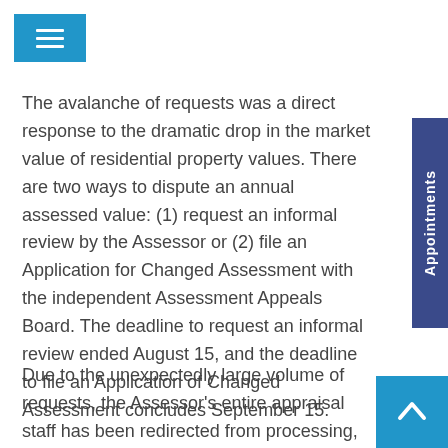The avalanche of requests was a direct response to the dramatic drop in the market value of residential property values. There are two ways to dispute an annual assessed value: (1) request an informal review by the Assessor or (2) file an Application for Changed Assessment with the independent Assessment Appeals Board. The deadline to request an informal review ended August 15, and the deadline to file an Application of Changed Assessment concludes September 15.
Due to the unexpectedly large volume of requests, the Assessor's entire appraisal staff has been redirected from processing, valuing and enrolling assessments resulting from changes in